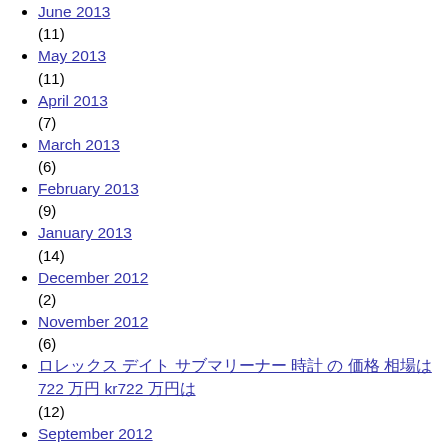June 2013
(11)
May 2013
(11)
April 2013
(7)
March 2013
(6)
February 2013
(9)
January 2013
(14)
December 2012
(2)
November 2012
(6)
ロレックス デイト サブマリーナー 時計 の 価格 相場は 722 万円 kr722 万円は
(12)
September 2012
(13)
August 2012
(1)
WEDS WEDSSPORT アドバンスポーク 18インチ ホイール SA25R 8.5J+35 5H/114.3
(7)
June 2013